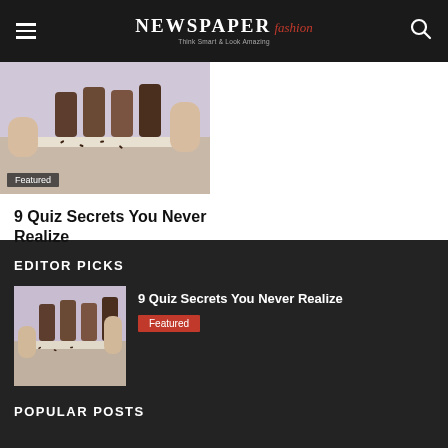NEWSPAPER fashion — Think Smart & Look Amazing
[Figure (photo): Photo of chocolate drinks being prepared on a white surface, person in lavender top visible]
Featured
9 Quiz Secrets You Never Realize
EDITOR PICKS
[Figure (photo): Thumbnail of chocolate drinks being prepared, person in lavender top visible]
9 Quiz Secrets You Never Realize
Featured
POPULAR POSTS